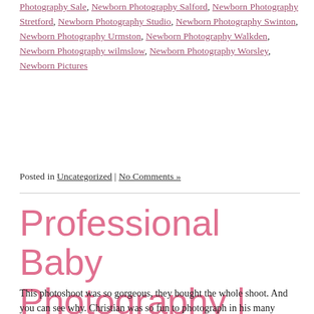Photography Sale, Newborn Photography Salford, Newborn Photography Stretford, Newborn Photography Studio, Newborn Photography Swinton, Newborn Photography Urmston, Newborn Photography Walkden, Newborn Photography wilmslow, Newborn Photography Worsley, Newborn Pictures
Posted in Uncategorized | No Comments »
Professional Baby Photography | Baby Portraits | Worsley Studio | Manchester | Christian
Tuesday, November 19th, 2013
This photoshoot was so gorgeous, they bought the whole shoot. And you can see why. Christian was so fun to photograph in his many different outfits and props.